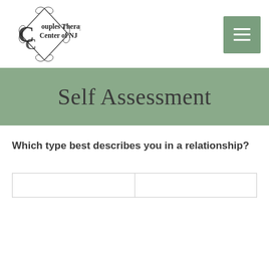Couples Therapy Center of NJ
Self Assessment
Which type best describes you in a relationship?
|  |  |